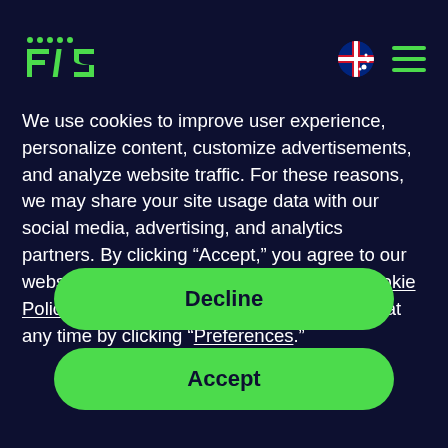FIS [logo with Australian flag icon and hamburger menu]
We use cookies to improve user experience, personalize content, customize advertisements, and analyze website traffic. For these reasons, we may share your site usage data with our social media, advertising, and analytics partners. By clicking “Accept,” you agree to our website’s cookie use as described in our Cookie Policy. You can change your cookie settings at any time by clicking “Preferences.”
Decline
Accept